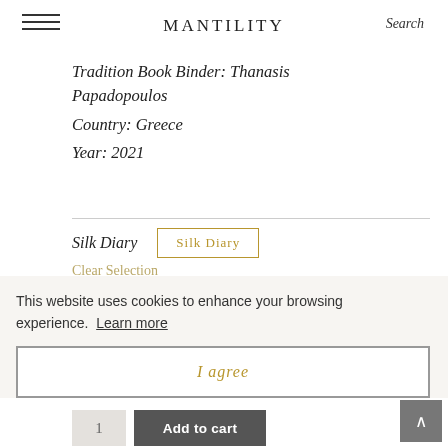MANTILITY
Tradition Book Binder: Thanasis Papadopoulos
Country: Greece
Year: 2021
Silk Diary  [Silk Diary button selected]
Clear Selection
This website uses cookies to enhance your browsing experience. Learn more
I agree
€94266  €63.00
Available on backorder
1  Add to cart